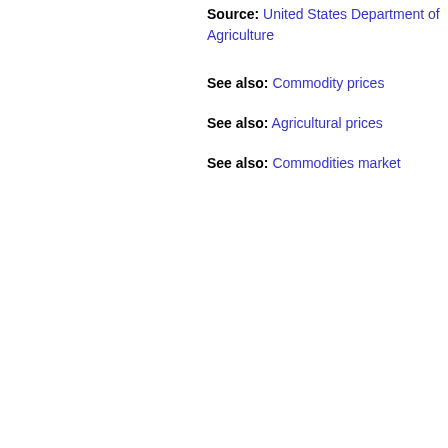Source: United States Department of Agriculture
See also: Commodity prices
See also: Agricultural prices
See also: Commodities market